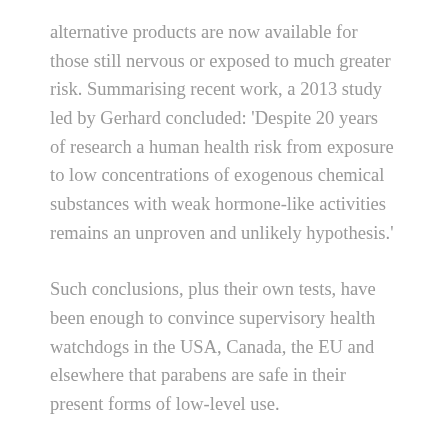alternative products are now available for those still nervous or exposed to much greater risk. Summarising recent work, a 2013 study led by Gerhard concluded: 'Despite 20 years of research a human health risk from exposure to low concentrations of exogenous chemical substances with weak hormone-like activities remains an unproven and unlikely hypothesis.'
Such conclusions, plus their own tests, have been enough to convince supervisory health watchdogs in the USA, Canada, the EU and elsewhere that parabens are safe in their present forms of low-level use.
Risk assessment